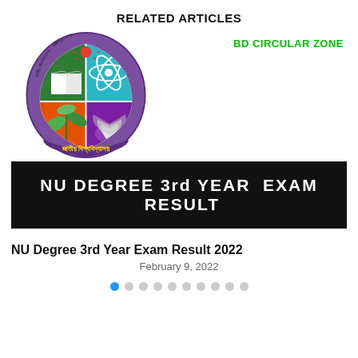RELATED ARTICLES
[Figure (logo): National University Bangladesh crest/logo with book, atom, plant, lotus symbols and Bengali text]
BD CIRCULAR ZONE
[Figure (infographic): Black banner with white bold text: NU DEGREE 3rd YEAR EXAM RESULT]
NU Degree 3rd Year Exam Result 2022
February 9, 2022